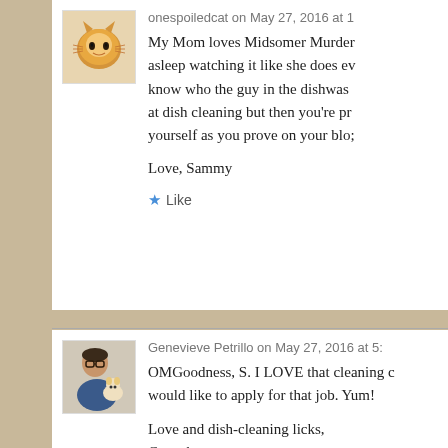[Figure (photo): Avatar of an orange tabby cat]
onespoiledcat on May 27, 2016 at 1
My Mom loves Midsomer Murder asleep watching it like she does eve know who the guy in the dishwas at dish cleaning but then you're pr yourself as you prove on your blo;
Love, Sammy
★ Like
[Figure (photo): Avatar of a person with glasses holding a dog]
Genevieve Petrillo on May 27, 2016 at 5:
OMGoodness, S. I LOVE that cleaning c would like to apply for that job. Yum!
Love and dish-cleaning licks,
Cupcake
★ Like